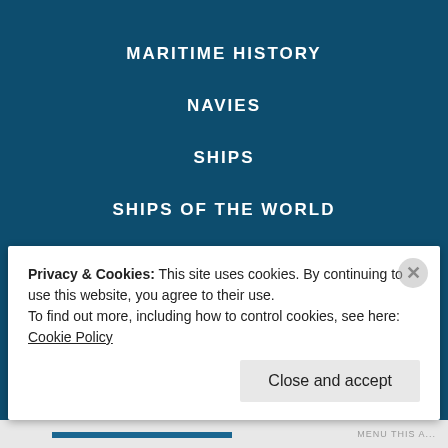MARITIME HISTORY
NAVIES
SHIPS
SHIPS OF THE WORLD
MILITARY AVIATION
WEAPONS & TACTICS
SAILOR SPEAK OF THE WEEK
Privacy & Cookies: This site uses cookies. By continuing to use this website, you agree to their use. To find out more, including how to control cookies, see here: Cookie Policy
Close and accept